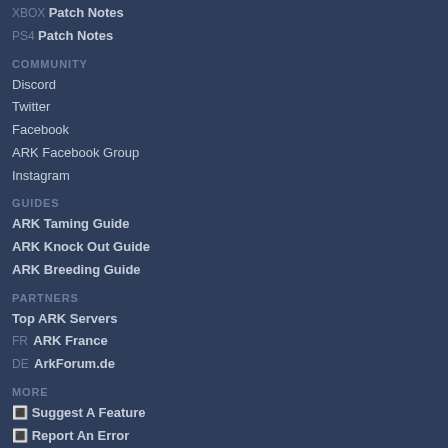XBOX Patch Notes
PS4 Patch Notes
COMMUNITY
Discord
Twitter
Facebook
ARK Facebook Group
Instagram
GUIDES
ARK Taming Guide
ARK Knock Out Guide
ARK Breeding Guide
PARTNERS
Top ARK Servers
FR ARK France
DE ArkForum.de
MORE
🔲 Suggest A Feature
🔲 Report An Error
🔲 Shirts & Merchandise
🔲 Translate
🔲 ARK 2